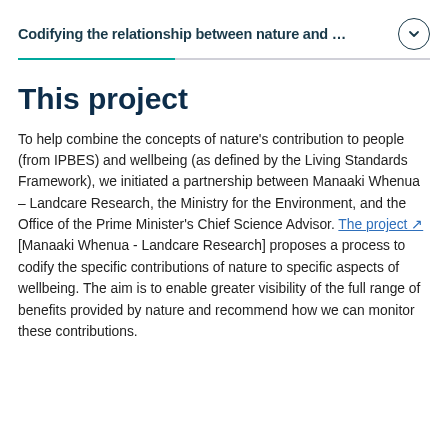Codifying the relationship between nature and …
This project
To help combine the concepts of nature's contribution to people (from IPBES) and wellbeing (as defined by the Living Standards Framework), we initiated a partnership between Manaaki Whenua – Landcare Research, the Ministry for the Environment, and the Office of the Prime Minister's Chief Science Advisor. The project [Manaaki Whenua - Landcare Research] proposes a process to codify the specific contributions of nature to specific aspects of wellbeing. The aim is to enable greater visibility of the full range of benefits provided by nature and recommend how we can monitor these contributions.